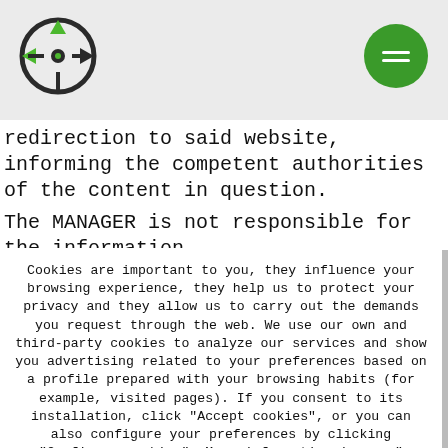[Figure (logo): Green and black compass/crosshair logo on grey header bar]
redirection to said website, informing the competent authorities of the content in question.
The MANAGER is not responsible for the information and content stored, by way of example but not limite...
Cookies are important to you, they influence your browsing experience, they help us to protect your privacy and they allow us to carry out the demands you request through the web. We use our own and third-party cookies to analyze our services and show you advertising related to your preferences based on a profile prepared with your browsing habits (for example, visited pages). If you consent to its installation, click "Accept cookies", or you can also configure your preferences by clicking "Configure cookies". More information in our " Cookies policy "
Configurar cookies | Accept cookies